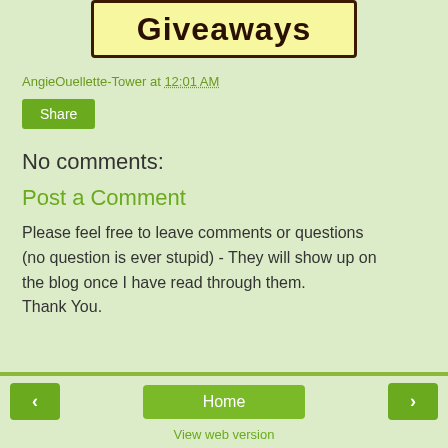[Figure (illustration): Giveaways banner with yellow background and dark brown border, handwritten-style text 'Giveaways']
AngieOuellette-Tower at 12:01 AM
Share
No comments:
Post a Comment
Please feel free to leave comments or questions (no question is ever stupid) - They will show up on the blog once I have read through them.
Thank You.
‹   Home   ›
View web version